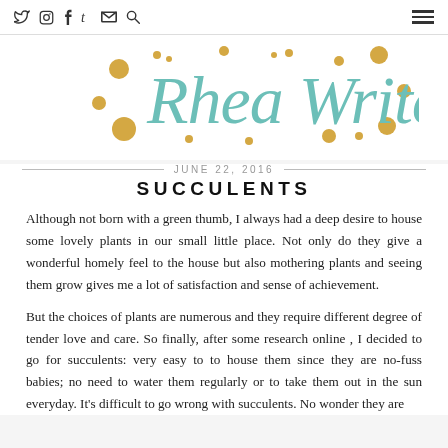Social icons: Twitter, Instagram, Facebook, Tumblr, Email, Search | Hamburger menu
[Figure (logo): Rhea Writes cursive logo in teal/mint color with decorative gold dots and circles]
JUNE 22, 2016
SUCCULENTS
Although not born with a green thumb, I always had a deep desire to house some lovely plants in our small little place. Not only do they give a wonderful homely feel to the house but also mothering plants and seeing them grow gives me a lot of satisfaction and sense of achievement.
But the choices of plants are numerous and they require different degree of tender love and care. So finally, after some research online , I decided to go for succulents: very easy to to house them since they are no-fuss babies; no need to water them regularly or to take them out in the sun everyday. It's difficult to go wrong with succulents. No wonder they are the latest in thismania just came of and is flooded with the you name it